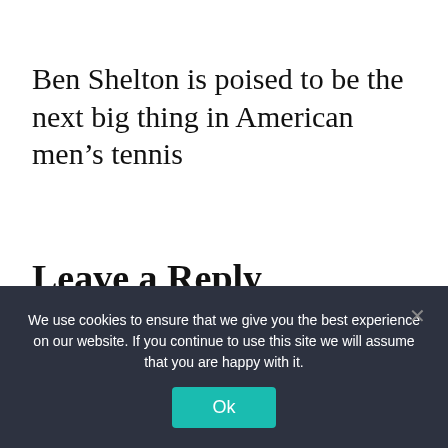Ben Shelton is poised to be the next big thing in American men’s tennis
Leave a Reply
Your email address will not be published. Required fields are marked *
We use cookies to ensure that we give you the best experience on our website. If you continue to use this site we will assume that you are happy with it.